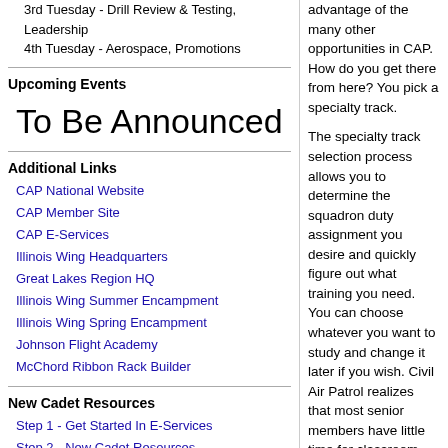3rd Tuesday - Drill Review & Testing, Leadership
4th Tuesday - Aerospace, Promotions
Upcoming Events
To Be Announced
Additional Links
CAP National Website
CAP Member Site
CAP E-Services
Illinois Wing Headquarters
Great Lakes Region HQ
Illinois Wing Summer Encampment
Illinois Wing Spring Encampment
Johnson Flight Academy
McChord Ribbon Rack Builder
New Cadet Resources
Step 1 - Get Started In E-Services
Step 2 - New Cadet Resources
advantage of the many other opportunities in CAP. How do you get there from here? You pick a specialty track. The specialty track selection process allows you to determine the squadron duty assignment you desire and quickly figure out what training you need. You can choose whatever you want to study and change it later if you wish. Civil Air Patrol realizes that most senior members have little time for classroom based training so most instruction is provided at the student's own pace and on the